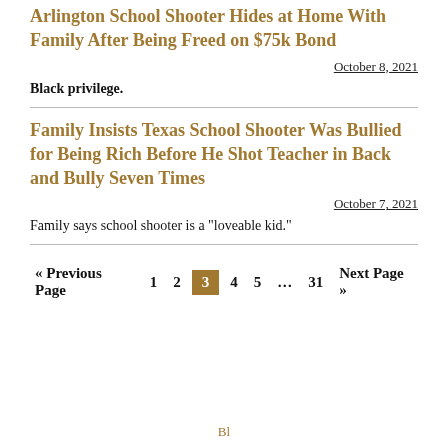Arlington School Shooter Hides at Home With Family After Being Freed on $75k Bond
October 8, 2021
Black privilege.
Family Insists Texas School Shooter Was Bullied for Being Rich Before He Shot Teacher in Back and Bully Seven Times
October 7, 2021
Family says school shooter is a "loveable kid."
« Previous Page  1  2  3  4  5  …  31  Next Page »
Bl